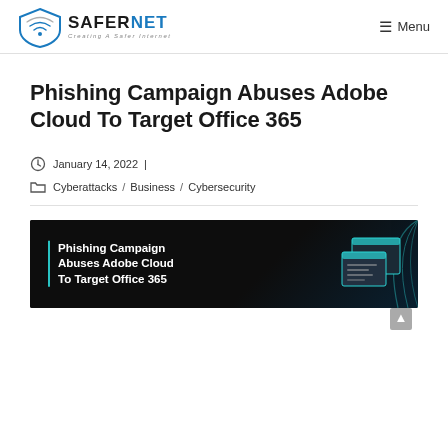SAFERNET — Creating A Safer Internet | Menu
Phishing Campaign Abuses Adobe Cloud To Target Office 365
January 14, 2022 | Cyberattacks / Business / Cybersecurity
[Figure (illustration): Dark banner image with text 'Phishing Campaign Abuses Adobe Cloud To Target Office 365' on the left with a teal vertical bar, and a graphic of browser windows on the right with teal/blue circular design elements.]